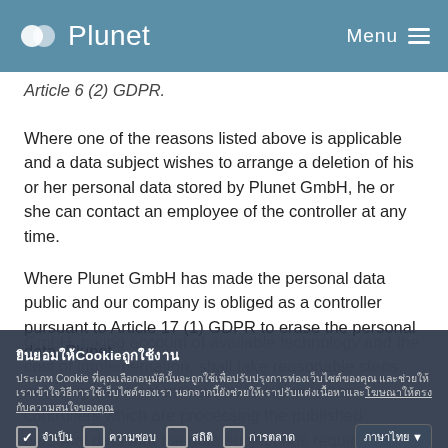Plunet | Menu
Article 6 (2) GDPR.
Where one of the reasons listed above is applicable and a data subject wishes to arrange a deletion of his or her personal data stored by Plunet GmbH, he or she can contact an employee of the controller at any time.
Where Plunet GmbH has made the personal data public and our company is obliged as a controller pursuant to Article 17 (1) GDPR to erase the personal data, Plunet GmbH, taking account of available technology and the cost of implementation, shall take reasonable steps, including technical measures, to inform other controllers which are processing the published personal data that the data subject has requested the erasure by such controllers of any links to, or copy or replication of, those personal data, as far as processing is not required.
ยินยอมให้Cookie ถูกใช้งาน
ประเภท Cookie ที่คุณเลือกอนุมัตินั้นจะถูกใช้เพื่อปรับปรุงการท่องเว็บไซต์ของคุณ และช่วยให้เราเข้าใจวิธีการใช้เว็บไซต์ของเรา นอกจากนี้ยังช่วยให้เราปรับแต่งเนื้อหาและโฆษณาให้ตรงกับความสนใจของคุณ
จำเป็น | ความชอบ | สถิติ | การตลาด | ภาษาไทย ▼
ปฏิเสธCookieทั้งหมด | ยอมรับCookieทั้งหมด